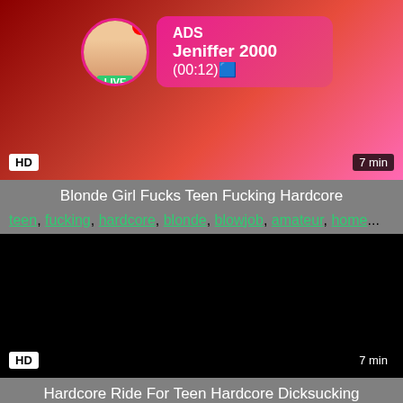[Figure (screenshot): Video thumbnail with red/pink gradient background showing an ad overlay with avatar, LIVE badge, notification dot, ADS label, name Jeniffer 2000, time (00:12), HD badge bottom-left, 7 min badge bottom-right]
Blonde Girl Fucks Teen Fucking Hardcore
teen, fucking, hardcore, blonde, blowjob, amateur, home...
[Figure (screenshot): Black video thumbnail with HD badge bottom-left and 7 min badge bottom-right]
Hardcore Ride For Teen Hardcore Dicksucking